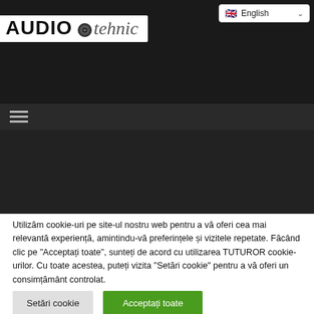[Figure (logo): AUDIOtehnic website logo — black background header with white logo box showing AUDIO in bold black with a speaker icon and 'tehnic' in italic gray]
English (language selector dropdown)
Hamburger menu icon (three horizontal lines)
Utilizăm cookie-uri pe site-ul nostru web pentru a vă oferi cea mai relevantă experiență, amintindu-vă preferințele și vizitele repetate. Făcând clic pe "Acceptați toate", sunteți de acord cu utilizarea TUTUROR cookie-urilor. Cu toate acestea, puteți vizita "Setări cookie" pentru a vă oferi un consimțământ controlat.
Setări cookie
Acceptați toate